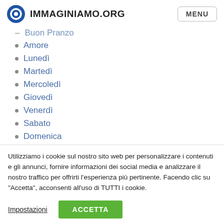IMMAGINIAMO.ORG | MENU
Buon Pranzo
Amore
Lunedì
Martedì
Mercoledì
Giovedì
Venerdì
Sabato
Domenica
Utilizziamo i cookie sul nostro sito web per personalizzare i contenuti e gli annunci, fornire informazioni dei social media e analizzare il nostro traffico per offrirti l'esperienza più pertinente. Facendo clic su "Accetta", acconsenti all'uso di TUTTI i cookie.
Impostazioni | ACCETTA